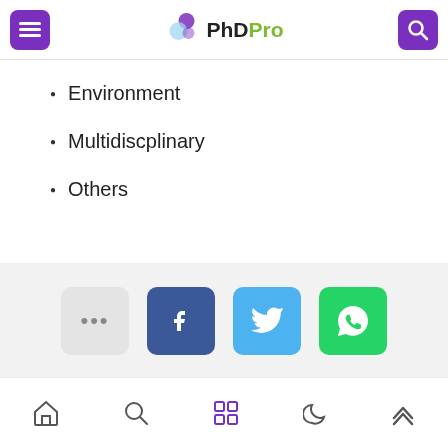PhDPro
Environment
Multidiscplinary
Others
[Figure (screenshot): Social share buttons: more (...), Facebook, Twitter, WhatsApp]
[Figure (screenshot): Bottom navigation bar with home, search, grid, moon/dark mode, and up arrow icons]